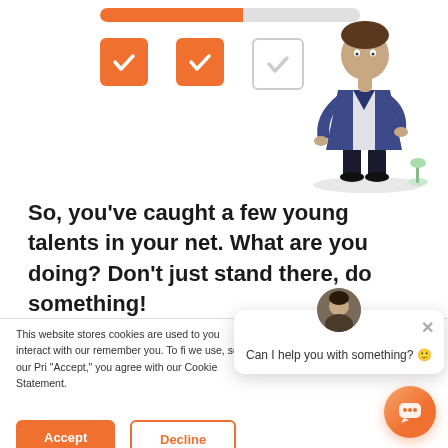[Figure (illustration): UI screenshot showing a progress bar (orange, ~55% filled), two orange checked checkboxes and one empty checkbox, and a person illustration (figure in blue jacket and dark pants) partially visible on the right side of the page]
So, you've caught a few young talents in your net. What are you doing? Don't just stand there, do something!
This website stores cookies are used to you interact with our remember you. To fi we use, see our Pri "Accept," you agree with our Cookie Statement.
Can I help you with something? 🙂
Accept
Decline